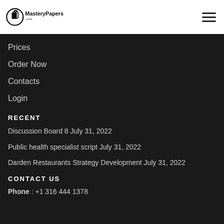[Figure (logo): MasteryPapers.com logo with circular icon on left and text on right, hamburger menu icon on far right]
Prices
Order Now
Contacts
Login
RECENT
Discussion Board 8  July 31, 2022
Public health specialist script  July 31, 2022
Darden Restaurants Strategy Development  July 31, 2022
CONTACT US
Phone : +1 316 444 1378